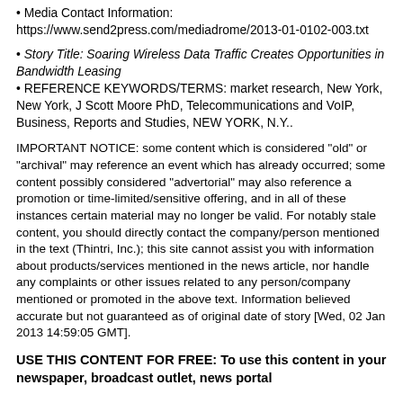• Media Contact Information:
https://www.send2press.com/mediadrome/2013-01-0102-003.txt
• Story Title: Soaring Wireless Data Traffic Creates Opportunities in Bandwidth Leasing
• REFERENCE KEYWORDS/TERMS: market research, New York, New York, J Scott Moore PhD, Telecommunications and VoIP, Business, Reports and Studies, NEW YORK, N.Y..
IMPORTANT NOTICE: some content which is considered "old" or "archival" may reference an event which has already occurred; some content possibly considered "advertorial" may also reference a promotion or time-limited/sensitive offering, and in all of these instances certain material may no longer be valid. For notably stale content, you should directly contact the company/person mentioned in the text (Thintri, Inc.); this site cannot assist you with information about products/services mentioned in the news article, nor handle any complaints or other issues related to any person/company mentioned or promoted in the above text. Information believed accurate but not guaranteed as of original date of story [Wed, 02 Jan 2013 14:59:05 GMT].
USE THIS CONTENT FOR FREE: To use this content in your newspaper, broadcast outlet, news portal